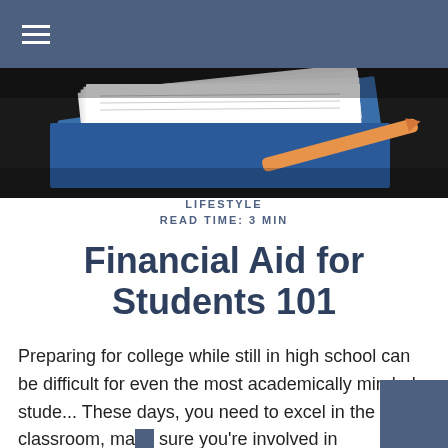[Figure (photo): Close-up photo of stacked books/notebooks with a pencil, blue and white tones, suggesting student study materials]
LIFESTYLE
READ TIME: 3 MIN
Financial Aid for Students 101
Preparing for college while still in high school can be difficult for even the most academically minded stude... These days, you need to excel in the classroom, make sure you're involved in extracurricular activities, and enroll